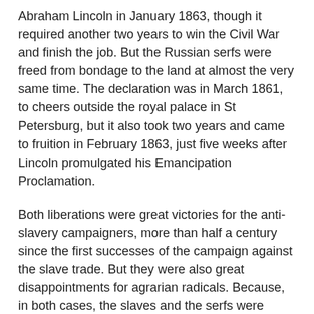Abraham Lincoln in January 1863, though it required another two years to win the Civil War and finish the job. But the Russian serfs were freed from bondage to the land at almost the very same time. The declaration was in March 1861, to cheers outside the royal palace in St Petersburg, but it also took two years and came to fruition in February 1863, just five weeks after Lincoln promulgated his Emancipation Proclamation.
Both liberations were great victories for the anti-slavery campaigners, more than half a century since the first successes of the campaign against the slave trade. But they were also great disappointments for agrarian radicals. Because, in both cases, the slaves and the serfs were catapulted from bondage into poverty.
In the USA, slavery was replaced by peonage and debt bondage. In Russia, the land was valued at three and a half times its market value, and this the impoverished serfs had to pay their former owners over a period of 49 years. For many serfs, even the details of the terms were not agreed for decades. Just as the former slaves had been in the USA,